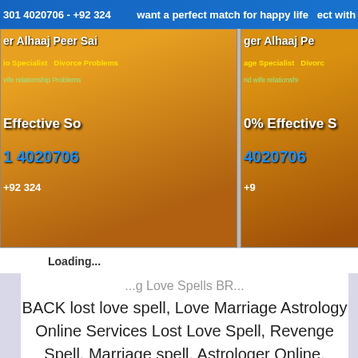[Figure (photo): Two advertisement banner images for Alhaaj Peer Salman Shah astrologer services, showing text about love spells, marriage specialist, divorce problems, husband wife relationship problems, 100% effective solutions, phone number +92 301 4020706 and +92 324]
Loading... ...g Love Spells BR... BACK lost love spell, Love Marriage Astrology Online Services Lost Love Spell, Revenge Spell, Marriage spell, Astrologer Online, Astrologer Call to AL HAAJ SALMAN SHAH +92 301 4020706 Manpasand Shadi Lost Love Spells are utilized, in the event that you have lost your affection and every one of the endeavors that you have attempted have fizzled and its absolutely impossible that you can recover your adoration. In the event that you are stuck in such a circumstance, then this spell is implied for you. Man staler spell